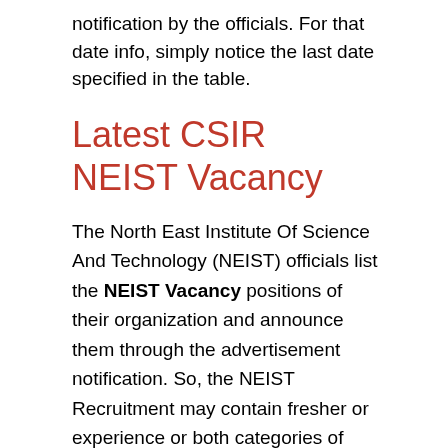notification by the officials. For that date info, simply notice the last date specified in the table.
Latest CSIR NEIST Vacancy
The North East Institute Of Science And Technology (NEIST) officials list the NEIST Vacancy positions of their organization and announce them through the advertisement notification. So, the NEIST Recruitment may contain fresher or experience or both categories of jobs. Whatever the NEIST Jobs category, you should have the same educational qualifications and experience. Then only, it is possible for you, to apply for the CSIR NEIST Vacancy Otherwise you will definitely face rejection of the application. We want to save your time, so we have provided the